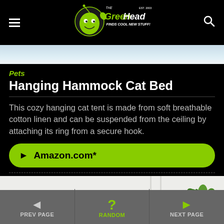The Green Head - Finds Cool New Stuff!
[Figure (photo): Partial view of a product image at top of page, light blue sky background]
Pets
Hanging Hammock Cat Bed
This cozy hanging cat tent is made from soft breathable cotton linen and can be suspended from the ceiling by attaching its ring from a secure hook.
► Amazon.com*
[Figure (photo): Partial view of a room with a plant and white wall, bottom section of page]
PREV PAGE   RANDOM   NEXT PAGE